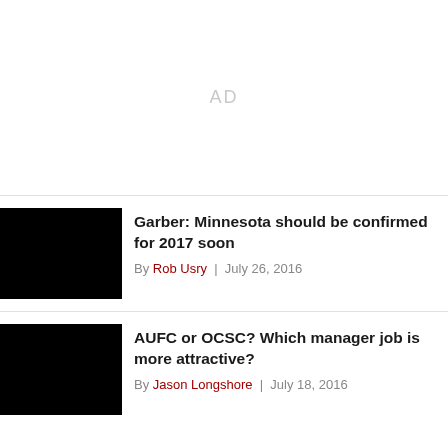[Figure (other): Advertisement placeholder area with 'AD' text]
Garber: Minnesota should be confirmed for 2017 soon
By Rob Usry | July 26, 2016
AUFC or OCSC? Which manager job is more attractive?
By Jason Longshore | July 18, 2016